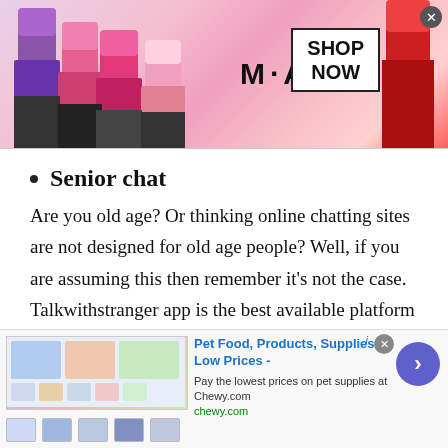[Figure (screenshot): MAC Cosmetics advertisement banner with lipsticks in purple, pink, and red colors. Shows MAC logo, SHOP NOW button in a box, and a close button.]
Senior chat
Are you old age? Or thinking online chatting sites are not designed for old age people? Well, if you are assuming this then remember it's not the case. Talkwithstranger app is the best available platform where all age group people are invited to talk to strangers online. Yes, TWS senior chat rooms help people of age around 50 or above 50. They can enjoy talking to strangers in Chad or other countries and find their desired partners.
[Figure (screenshot): Chewy.com advertisement: 'Pet Food, Products, Supplies at Low Prices - Pay the lowest prices on pet supplies at Chewy.com' with product images and a purple arrow button.]